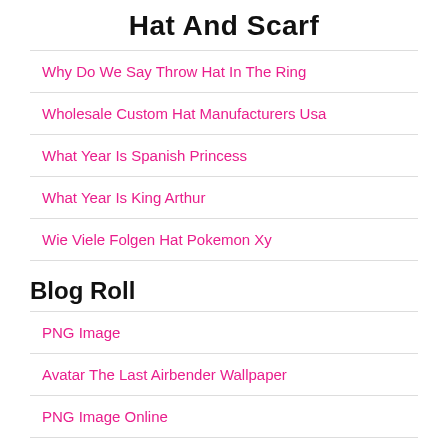Hat And Scarf
Why Do We Say Throw Hat In The Ring
Wholesale Custom Hat Manufacturers Usa
What Year Is Spanish Princess
What Year Is King Arthur
Wie Viele Folgen Hat Pokemon Xy
Blog Roll
PNG Image
Avatar The Last Airbender Wallpaper
PNG Image Online
Anime Wallpapers For Iphone
PNG Free Download